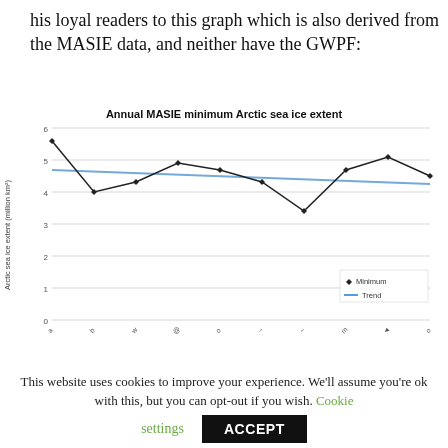his loyal readers to this graph which is also derived from the MASIE data, and neither have the GWPF:
[Figure (line-chart): Annual MASIE minimum Arctic sea ice extent]
This website uses cookies to improve your experience. We'll assume you're ok with this, but you can opt-out if you wish. Cookie settings ACCEPT